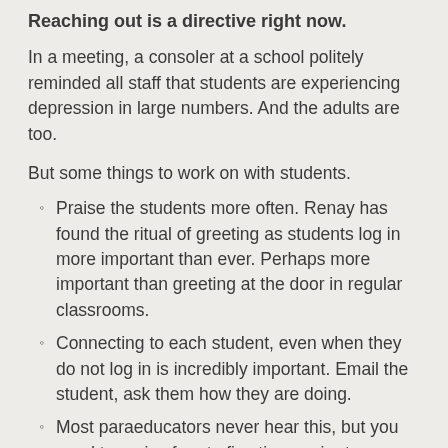Reaching out is a directive right now.
In a meeting, a consoler at a school politely reminded all staff that students are experiencing depression in large numbers. And the adults are too.
But some things to work on with students.
Praise the students more often. Renay has found the ritual of greeting as students log in more important than ever. Perhaps more important than greeting at the door in regular classrooms.
Connecting to each student, even when they do not log in is incredibly important. Email the student, ask them how they are doing.
Most paraeducators never hear this, but you need to praise four to five times prior to a correction. Build on the good that you have